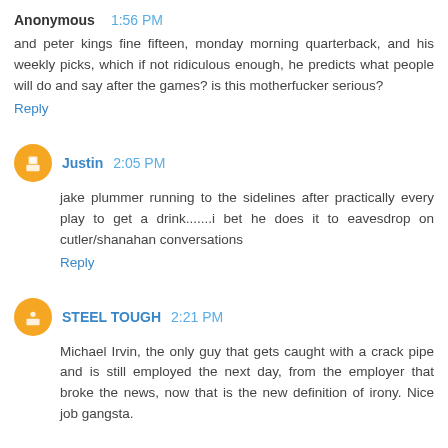Anonymous 1:56 PM
and peter kings fine fifteen, monday morning quarterback, and his weekly picks, which if not ridiculous enough, he predicts what people will do and say after the games? is this motherfucker serious?
Reply
Justin 2:05 PM
jake plummer running to the sidelines after practically every play to get a drink.......i bet he does it to eavesdrop on cutler/shanahan conversations
Reply
STEEL TOUGH 2:21 PM
Michael Irvin, the only guy that gets caught with a crack pipe and is still employed the next day, from the employer that broke the news, now that is the new definition of irony. Nice job gangsta.